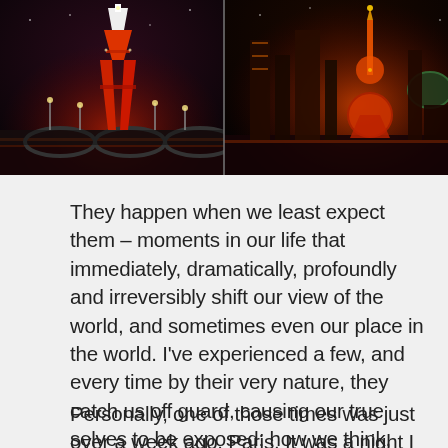[Figure (photo): Two city night photos side by side: left shows the Eiffel Tower illuminated in red/white lights reflected over water; right shows Shanghai's Oriental Pearl Tower and skyline lit in red and gold at night.]
They happen when we least expect them – moments in our life that immediately, dramatically, profoundly and irreversibly shift our view of the world, and sometimes even our place in the world. I've experienced a few, and every time by their very nature, they catch us off guard, causing our true selves to be exposed: how we think, how we feel, how we immediately respond and of course, how we then move on.
Personally, one of those times was just over a week ago. Paris. It was a night I wont forget. By